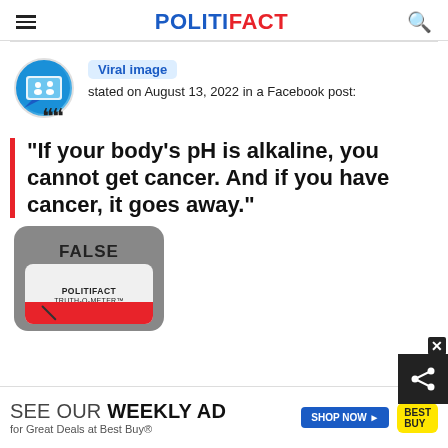POLITIFACT
Viral image stated on August 13, 2022 in a Facebook post:
"If your body's pH is alkaline, you cannot get cancer. And if you have cancer, it goes away."
[Figure (infographic): PolitiFact Truth-O-Meter showing FALSE rating]
SEE OUR WEEKLY AD for Great Deals at Best Buy®